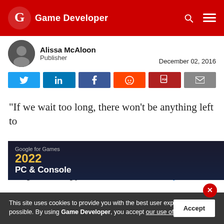Game Developer
Alissa McAloon
Publisher
December 02, 2016
[Figure (other): Social share buttons: Twitter, LinkedIn, Facebook, Reddit, PDF, Email]
“If we wait too long, there won’t be anything left to preserve.”
– Archivist Andrew Borman highlighted the urgent need for better video game archiving practices in a recent Kotaku story.
This site uses cookies to provide you with the best user experience possible. By using Game Developer, you accept our use of cookies.